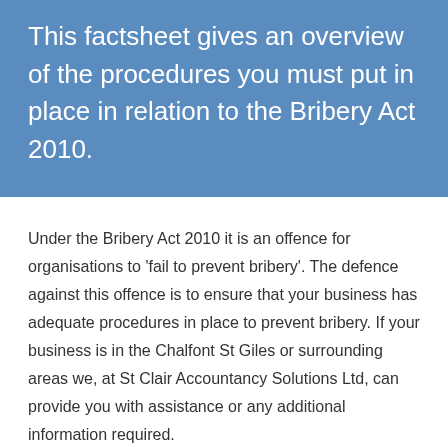This factsheet gives an overview of the procedures you must put in place in relation to the Bribery Act 2010.
Under the Bribery Act 2010 it is an offence for organisations to 'fail to prevent bribery'. The defence against this offence is to ensure that your business has adequate procedures in place to prevent bribery. If your business is in the Chalfont St Giles or surrounding areas we, at St Clair Accountancy Solutions Ltd, can provide you with assistance or any additional information required.